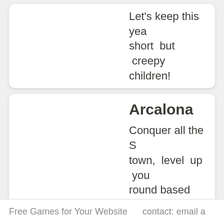Let's keep this year short but creepy children!
Arcalona
Conquer all the S town, level up you round based fights.
Mortimer Beckett - Spo
< 1 2 3 4
Free Games for Your Website    contact: email a